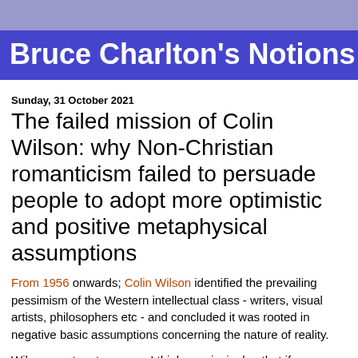Bruce Charlton's Notions
Sunday, 31 October 2021
The failed mission of Colin Wilson: why Non-Christian romanticism failed to persuade people to adopt more optimistic and positive metaphysical assumptions
From 1956 onwards; Colin Wilson identified the prevailing pessimism of the Western intellectual class - writers, visual artists, philosophers etc - and concluded it was rooted in negative basic assumptions concerning the nature of reality.
Wilson went on to argue - I think convincingly - that if more positive and optimistic assumptions were instead adopted, then human life would be more enjoyable and worthwhile.